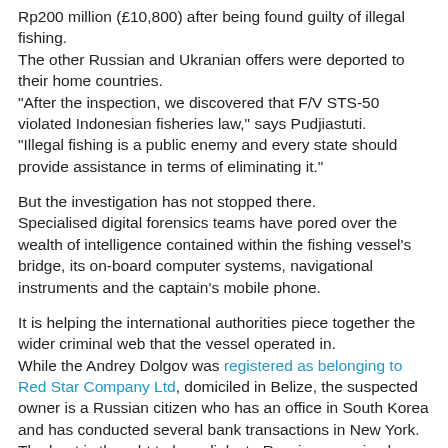Rp200 million (£10,800) after being found guilty of illegal fishing.
The other Russian and Ukranian offers were deported to their home countries.
"After the inspection, we discovered that F/V STS-50 violated Indonesian fisheries law," says Pudjiastuti.
"Illegal fishing is a public enemy and every state should provide assistance in terms of eliminating it."
But the investigation has not stopped there.
Specialised digital forensics teams have pored over the wealth of intelligence contained within the fishing vessel's bridge, its on-board computer systems, navigational instruments and the captain's mobile phone.
It is helping the international authorities piece together the wider criminal web that the vessel operated in.
While the Andrey Dolgov was registered as belonging to Red Star Company Ltd, domiciled in Belize, the suspected owner is a Russian citizen who has an office in South Korea and has conducted several bank transactions in New York.
The boat is thought to have links to Russian organised